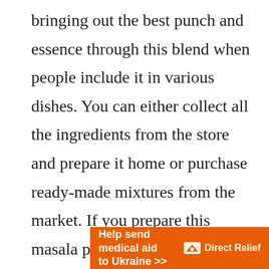bringing out the best punch and essence through this blend when people include it in various dishes. You can either collect all the ingredients from the store and prepare it home or purchase ready-made mixtures from the market. If you prepare this masala powder at home, you can adjust the spiciness according to your preference. So, here is the list of basic spices that come in tikka masala powder. We have listed all the spices that came all the way
[Figure (infographic): Orange advertisement banner reading 'Help send medical aid to Ukraine >>' with Direct Relief logo on the right]